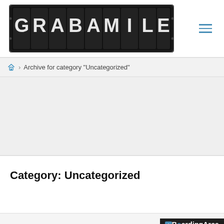[Figure (logo): GRABAMILE logo rendered as split-flap/departure board style letters on dark background]
Archive for category "Uncategorized"
Category: Uncategorized
[Figure (logo): BoardingArea logo — white text on dark background with speech bubble icon replacing the 'o' in Boarding]